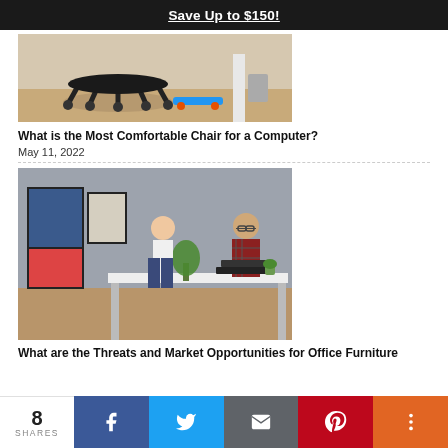Save Up to $150!
[Figure (photo): Underside of a computer chair with wheels on a wooden floor, with a skateboard visible]
What is the Most Comfortable Chair for a Computer?
May 11, 2022
[Figure (photo): Two people working at standing desks in an office setting; a woman standing and a man seated on a stool, both using laptops]
What are the Threats and Market Opportunities for Office Furniture
8 SHARES
Facebook share button, Twitter share button, Email share button, Pinterest share button, More share button